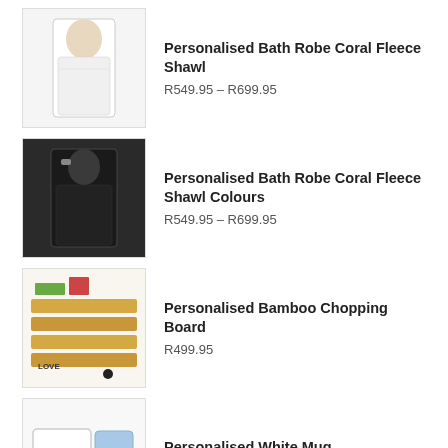Personalised Bath Robe Coral Fleece Shawl
R549.95 – R699.95
Personalised Bath Robe Coral Fleece Shawl Colours
R549.95 – R699.95
Personalised Bamboo Chopping Board
R499.95
Personalised White Mug
R49.95
TOP RATED PRODUCTS
Personalised White Mug Jumbo